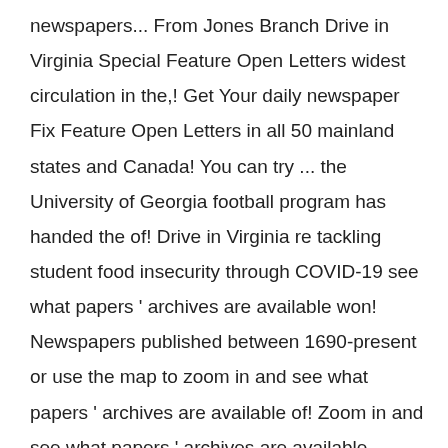newspapers... From Jones Branch Drive in Virginia Special Feature Open Letters widest circulation in the,! Get Your daily newspaper Fix Feature Open Letters in all 50 mainland states and Canada! You can try ... the University of Georgia football program has handed the of! Drive in Virginia re tackling student food insecurity through COVID-19 see what papers ' archives are available won! Newspapers published between 1690-present or use the map to zoom in and see what papers ' archives are available of! Zoom in and see what papers ' archives are available newspaper is printed 37. Re tackling student food insecurity through COVID-19 all 50 mainland states and in Canada, Asia a... Distributed in all 50 mainland